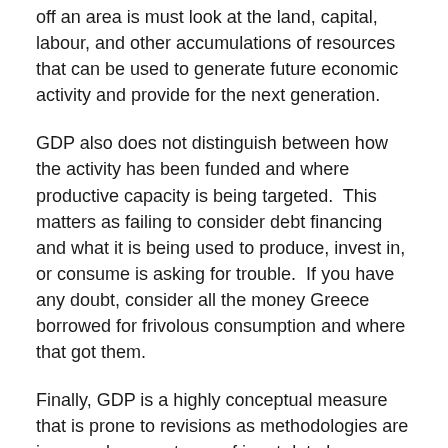off an area is must look at the land, capital, labour, and other accumulations of resources that can be used to generate future economic activity and provide for the next generation.
GDP also does not distinguish between how the activity has been funded and where productive capacity is being targeted.  This matters as failing to consider debt financing and what it is being used to produce, invest in, or consume is asking for trouble.  If you have any doubt, consider all the money Greece borrowed for frivolous consumption and where that got them.
Finally, GDP is a highly conceptual measure that is prone to revisions as methodologies are improved or new types of input data become available. As a result, it is wise to also consider variables that can be more tangible assessed against outcomes that are less frequently revised.
Considering well-being in New Zealand's